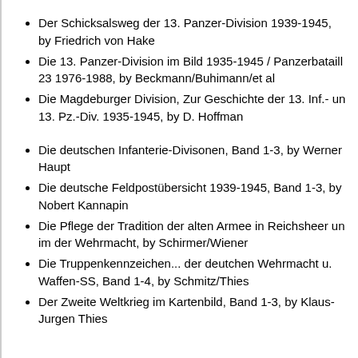Der Schicksalsweg der 13. Panzer-Division 1939-1945, by Friedrich von Hake
Die 13. Panzer-Division im Bild 1935-1945 / Panzerbataill 23 1976-1988, by Beckmann/Buhimann/et al
Die Magdeburger Division, Zur Geschichte der 13. Inf.- un 13. Pz.-Div. 1935-1945, by D. Hoffman
Die deutschen Infanterie-Divisonen, Band 1-3, by Werner Haupt
Die deutsche Feldpostübersicht 1939-1945, Band 1-3, by Nobert Kannapin
Die Pflege der Tradition der alten Armee in Reichsheer un im der Wehrmacht, by Schirmer/Wiener
Die Truppenkennzeichen... der deutchen Wehrmacht u. Waffen-SS, Band 1-4, by Schmitz/Thies
Der Zweite Weltkrieg im Kartenbild, Band 1-3, by Klaus-Jurgen Thies